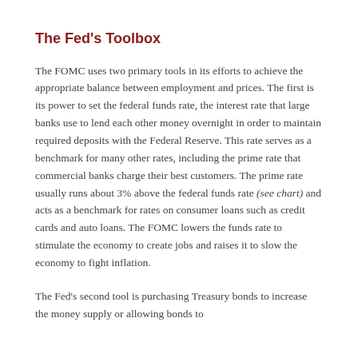The Fed's Toolbox
The FOMC uses two primary tools in its efforts to achieve the appropriate balance between employment and prices. The first is its power to set the federal funds rate, the interest rate that large banks use to lend each other money overnight in order to maintain required deposits with the Federal Reserve. This rate serves as a benchmark for many other rates, including the prime rate that commercial banks charge their best customers. The prime rate usually runs about 3% above the federal funds rate (see chart) and acts as a benchmark for rates on consumer loans such as credit cards and auto loans. The FOMC lowers the funds rate to stimulate the economy to create jobs and raises it to slow the economy to fight inflation.
The Fed's second tool is purchasing Treasury bonds to increase the money supply or allowing bonds to